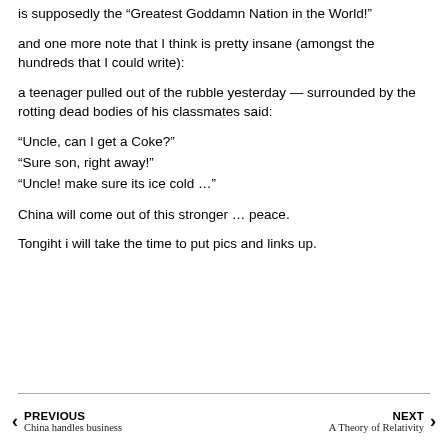is supposedly the “Greatest Goddamn Nation in the World!”
and one more note that I think is pretty insane (amongst the hundreds that I could write):
a teenager pulled out of the rubble yesterday — surrounded by the rotting dead bodies of his classmates said:
“Uncle, can I get a Coke?”
“Sure son, right away!”
“Uncle! make sure its ice cold ...”
China will come out of this stronger ... peace.
Tongiht i will take the time to put pics and links up.
PREVIOUS China handles business | NEXT A Theory of Relativity